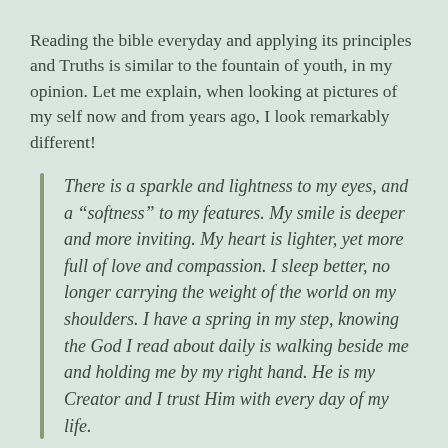Reading the bible everyday and applying its principles and Truths is similar to the fountain of youth, in my opinion. Let me explain, when looking at pictures of my self now and from years ago, I look remarkably different!
There is a sparkle and lightness to my eyes, and a “softness” to my features. My smile is deeper and more inviting. My heart is lighter, yet more full of love and compassion. I sleep better, no longer carrying the weight of the world on my shoulders. I have a spring in my step, knowing the God I read about daily is walking beside me and holding me by my right hand. He is my Creator and I trust Him with every day of my life.